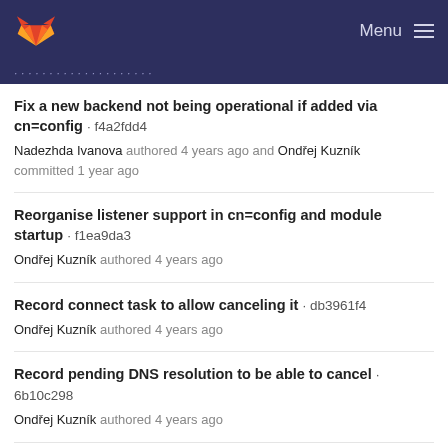GitLab — Menu
Fix a new backend not being operational if added via cn=config · f4a2fdd4
Nadezhda Ivanova authored 4 years ago and Ondřej Kuzník committed 1 year ago
Reorganise listener support in cn=config and module startup · f1ea9da3
Ondřej Kuzník authored 4 years ago
Record connect task to allow canceling it · db3961f4
Ondřej Kuzník authored 4 years ago
Record pending DNS resolution to be able to cancel · 6b10c298
Ondřej Kuzník authored 4 years ago
Implement runtime monitor (un)registration · 07401e58
Ondřej Kuzník authored 4 years ago